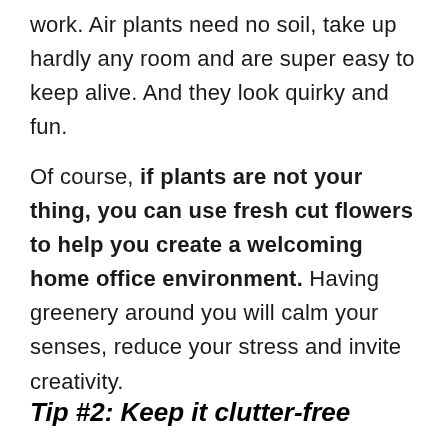work. Air plants need no soil, take up hardly any room and are super easy to keep alive. And they look quirky and fun.
Of course, if plants are not your thing, you can use fresh cut flowers to help you create a welcoming home office environment. Having greenery around you will calm your senses, reduce your stress and invite creativity.
Tip #2: Keep it clutter-free